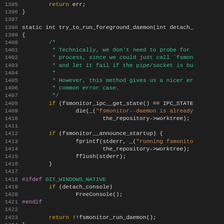Source code listing, lines 1395–1424, C language, fsmonitor daemon code